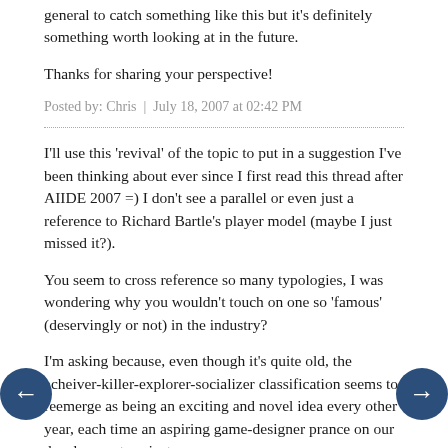general to catch something like this but it's definitely something worth looking at in the future.
Thanks for sharing your perspective!
Posted by: Chris | July 18, 2007 at 02:42 PM
I'll use this 'revival' of the topic to put in a suggestion I've been thinking about ever since I first read this thread after AIIDE 2007 =) I don't see a parallel or even just a reference to Richard Bartle's player model (maybe I just missed it?).
You seem to cross reference so many typologies, I was wondering why you wouldn't touch on one so 'famous' (deservingly or not) in the industry?
I'm asking because, even though it's quite old, the acheiver-killer-explorer-socializer classification seems to reemerge as being an exciting and novel idea every other year, each time an aspiring game-designer prance on our development projects.